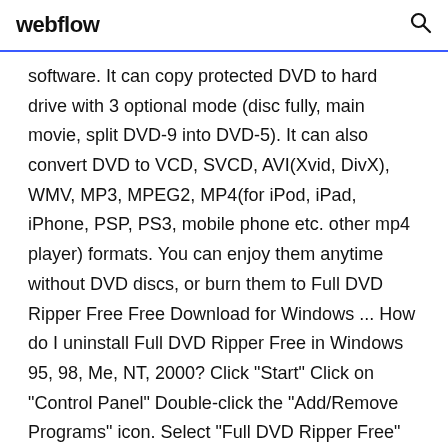webflow
software. It can copy protected DVD to hard drive with 3 optional mode (disc fully, main movie, split DVD-9 into DVD-5). It can also convert DVD to VCD, SVCD, AVI(Xvid, DivX), WMV, MP3, MPEG2, MP4(for iPod, iPad, iPhone, PSP, PS3, mobile phone etc. other mp4 player) formats. You can enjoy them anytime without DVD discs, or burn them to Full DVD Ripper Free Free Download for Windows ... How do I uninstall Full DVD Ripper Free in Windows 95, 98, Me, NT, 2000? Click "Start" Click on "Control Panel" Double-click the "Add/Remove Programs" icon. Select "Full DVD Ripper Free" and right click, then select Uninstall/Change. Click "Yes" to confirm the uninstallation.